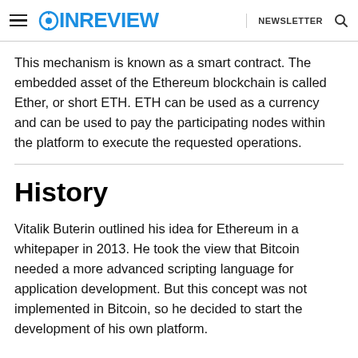COINREVIEW | NEWSLETTER
This mechanism is known as a smart contract. The embedded asset of the Ethereum blockchain is called Ether, or short ETH. ETH can be used as a currency and can be used to pay the participating nodes within the platform to execute the requested operations.
History
Vitalik Buterin outlined his idea for Ethereum in a whitepaper in 2013. He took the view that Bitcoin needed a more advanced scripting language for application development. But this concept was not implemented in Bitcoin, so he decided to start the development of his own platform.